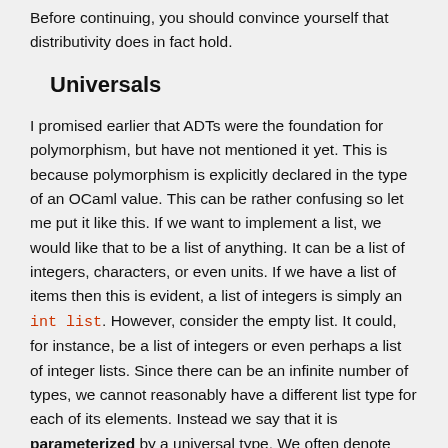Before continuing, you should convince yourself that distributivity does in fact hold.
Universals
I promised earlier that ADTs were the foundation for polymorphism, but have not mentioned it yet. This is because polymorphism is explicitly declared in the type of an OCaml value. This can be rather confusing so let me put it like this. If we want to implement a list, we would like that to be a list of anything. It can be a list of integers, characters, or even units. If we have a list of items then this is evident, a list of integers is simply an int list. However, consider the empty list. It could, for instance, be a list of integers or even perhaps a list of integer lists. Since there can be an infinite number of types, we cannot reasonably have a different list type for each of its elements. Instead we say that it is parameterized by a universal type. We often denote this universal